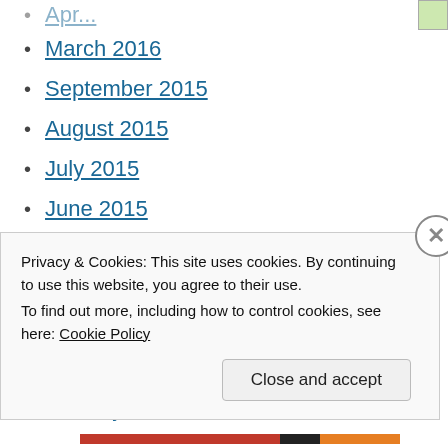March 2016
September 2015
August 2015
July 2015
June 2015
May 2015
April 2015
March 2015
February 2015
January 2015
December 2014
Privacy & Cookies: This site uses cookies. By continuing to use this website, you agree to their use.
To find out more, including how to control cookies, see here: Cookie Policy
Close and accept